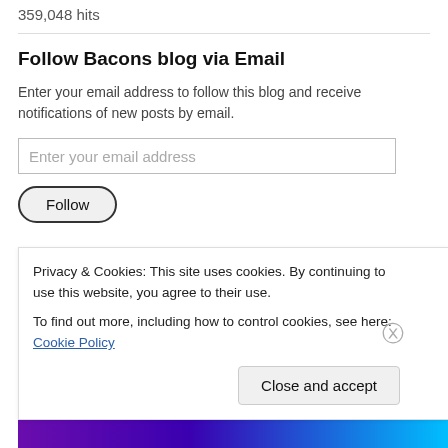359,048 hits
Follow Bacons blog via Email
Enter your email address to follow this blog and receive notifications of new posts by email.
[Figure (screenshot): Email input field with placeholder 'Enter your email address']
[Figure (screenshot): Follow button with rounded border]
Join 1,867 other followers
Privacy & Cookies: This site uses cookies. By continuing to use this website, you agree to their use.
To find out more, including how to control cookies, see here: Cookie Policy
Close and accept